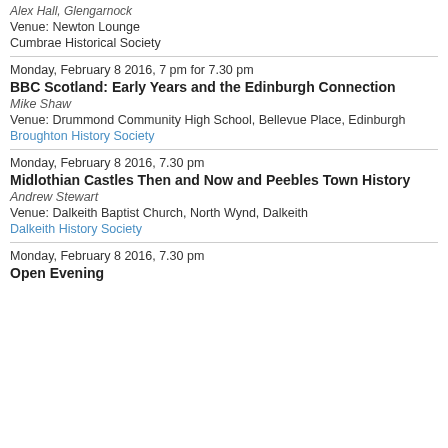Alex Hall, Glengarnock
Venue: Newton Lounge
Cumbrae Historical Society
Monday, February 8 2016, 7 pm for 7.30 pm
BBC Scotland: Early Years and the Edinburgh Connection
Mike Shaw
Venue: Drummond Community High School, Bellevue Place, Edinburgh
Broughton History Society
Monday, February 8 2016, 7.30 pm
Midlothian Castles Then and Now and Peebles Town History
Andrew Stewart
Venue: Dalkeith Baptist Church, North Wynd, Dalkeith
Dalkeith History Society
Monday, February 8 2016, 7.30 pm
Open Evening